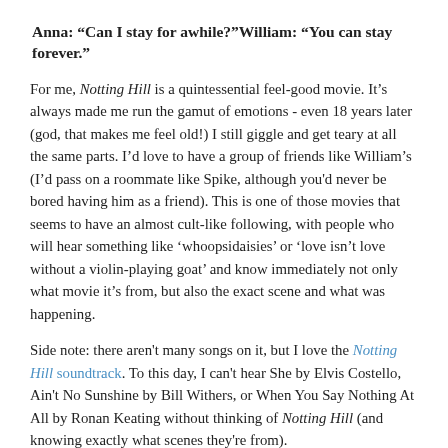Anna: “Can I stay for awhile?”William: “You can stay forever.”
For me, Notting Hill is a quintessential feel-good movie. It’s always made me run the gamut of emotions - even 18 years later (god, that makes me feel old!) I still giggle and get teary at all the same parts. I’d love to have a group of friends like William’s (I’d pass on a roommate like Spike, although you'd never be bored having him as a friend). This is one of those movies that seems to have an almost cult-like following, with people who will hear something like ‘whoopsidaisies’ or ‘love isn’t love without a violin-playing goat’ and know immediately not only what movie it’s from, but also the exact scene and what was happening.
Side note: there aren't many songs on it, but I love the Notting Hill soundtrack. To this day, I can't hear She by Elvis Costello, Ain't No Sunshine by Bill Withers, or When You Say Nothing At All by Ronan Keating without thinking of Notting Hill (and knowing exactly what scenes they're from).